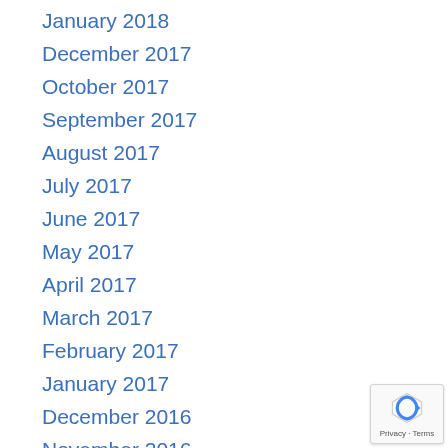January 2018
December 2017
October 2017
September 2017
August 2017
July 2017
June 2017
May 2017
April 2017
March 2017
February 2017
January 2017
December 2016
November 2016
October 2016